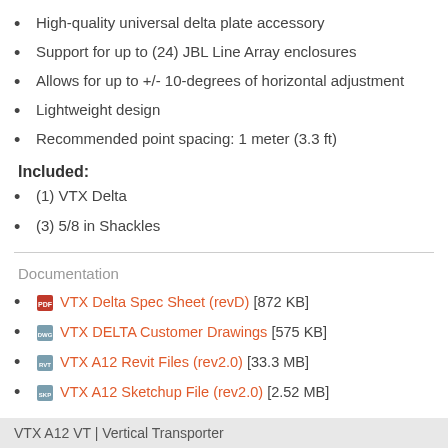High-quality universal delta plate accessory
Support for up to (24) JBL Line Array enclosures
Allows for up to +/- 10-degrees of horizontal adjustment
Lightweight design
Recommended point spacing: 1 meter (3.3 ft)
Included:
(1) VTX Delta
(3) 5/8 in Shackles
Documentation
VTX Delta Spec Sheet (revD) [872 KB]
VTX DELTA Customer Drawings [575 KB]
VTX A12 Revit Files (rev2.0) [33.3 MB]
VTX A12 Sketchup File (rev2.0) [2.52 MB]
VTX A12 VT | Vertical Transporter